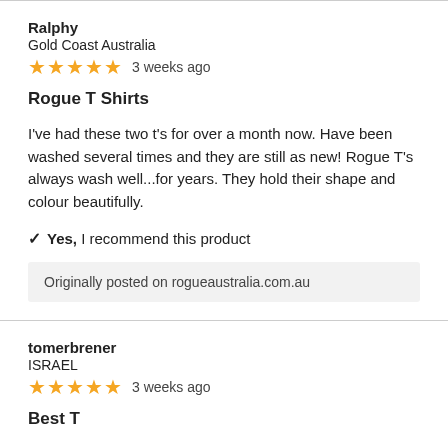Ralphy
Gold Coast Australia
★★★★★ 3 weeks ago
Rogue T Shirts
I've had these two t's for over a month now. Have been washed several times and they are still as new! Rogue T's always wash well...for years. They hold their shape and colour beautifully.
✓ Yes, I recommend this product
Originally posted on rogueaustralia.com.au
tomerbrener
ISRAEL
★★★★★ 3 weeks ago
Best T